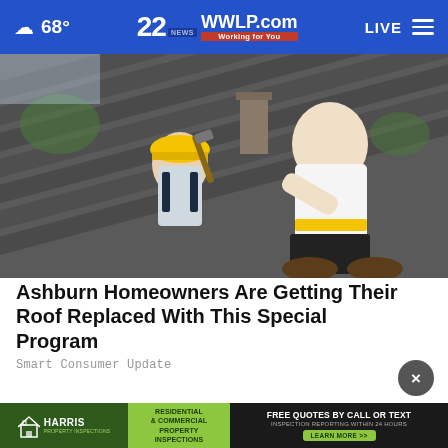☁ 68° | 22 WWLP.com Working for You | LIVE
[Figure (photo): Two roofers working on a residential roof with dark grey shingles. One worker in the foreground wearing a white t-shirt leans forward installing shingles. Another worker in the background wearing a yellow hard hat and overalls uses a hammer.]
Ashburn Homeowners Are Getting Their Roof Replaced With This Special Program
Smart Consumer Update
[Figure (infographic): Harris Property Inspections advertisement banner. Left dark green section with house icon and HARRIS PROPERTY INSPECTIONS logo. Middle bright green section: RESIDENTIAL & COMMERCIAL PROPERTY INSPECTIONS. Right dark section: FREE QUOTES BY CALL OR TEXT, INSPECTION REPORTING WITHIN 24 HOURS, LEARN MORE >> button.]